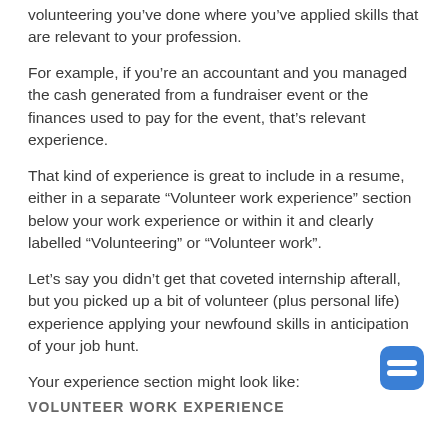volunteering you've done where you've applied skills that are relevant to your profession.
For example, if you're an accountant and you managed the cash generated from a fundraiser event or the finances used to pay for the event, that's relevant experience.
That kind of experience is great to include in a resume, either in a separate “Volunteer work experience” section below your work experience or within it and clearly labelled “Volunteering” or “Volunteer work”.
Let’s say you didn’t get that coveted internship afterall, but you picked up a bit of volunteer (plus personal life) experience applying your newfound skills in anticipation of your job hunt.
Your experience section might look like:
VOLUNTEER WORK EXPERIENCE